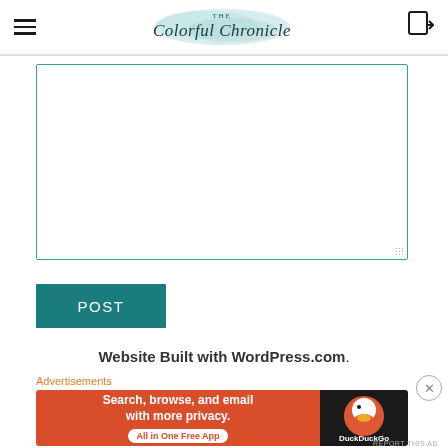The Colorful Chronicle
[Figure (screenshot): Empty comment text area with teal border]
[Figure (screenshot): POST button in dark teal color]
Website Built with WordPress.com.
Advertisements
[Figure (screenshot): DuckDuckGo advertisement banner: Search, browse, and email with more privacy. All in One Free App]